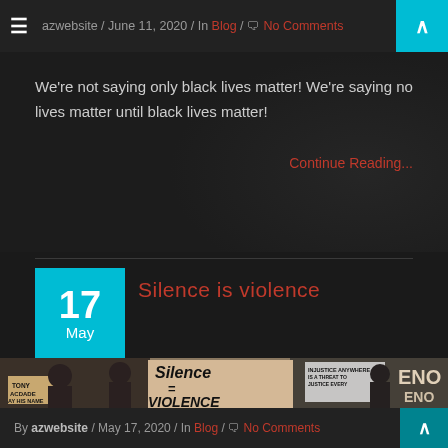azwebsite / June 11, 2020 / In Blog / No Comments
We're not saying only black lives matter! We're saying no lives matter until black lives matter!
Continue Reading...
Silence is violence
[Figure (photo): Protest crowd holding signs reading 'Silence = Violence', 'Justice Anywhere is a Threat to Justice Everywhere', 'ENOUGH IS ENOUGH', and 'Tony McDade Say His Name']
By azwebsite / May 17, 2020 / In Blog / No Comments